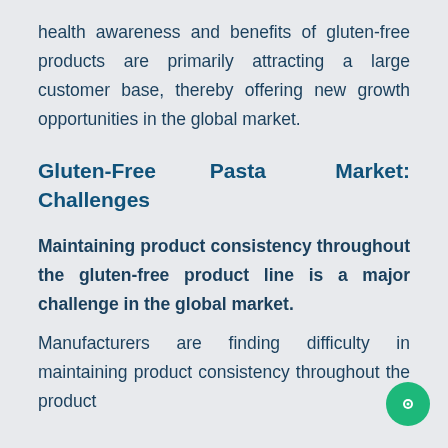health awareness and benefits of gluten-free products are primarily attracting a large customer base, thereby offering new growth opportunities in the global market.
Gluten-Free Pasta Market: Challenges
Maintaining product consistency throughout the gluten-free product line is a major challenge in the global market.
Manufacturers are finding difficulty in maintaining product consistency throughout the product